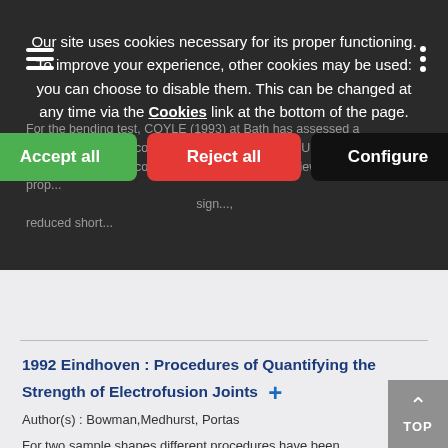Our site uses cookies necessary for its proper functioning. To improve your experience, other cookies may be used: you can choose to disable them. This can be changed at any time via the Cookies link at the bottom of the page.
Accept all | Reject all | Configure
For the bending test, COYLE (1993) at Bath has assessed a long heat soak and cooling — predominate in the United Kingdom and other countries. The literature is reviewed to prop... significantly..., reduced short...
1992 Eindhoven : Procedures of Quantifying the Strength of Electrofusion Joints +
Author(s) : Bowman,Medhurst, Portas
For two sample shapes different procedures have been